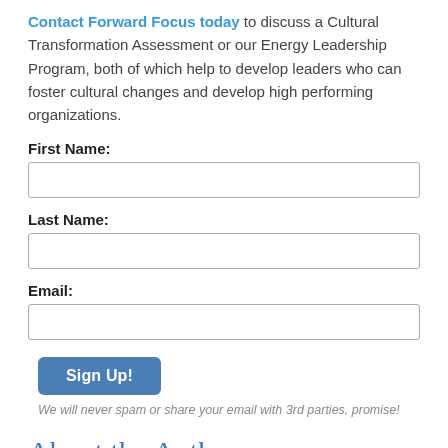Contact Forward Focus today to discuss a Cultural Transformation Assessment or our Energy Leadership Program, both of which help to develop leaders who can foster cultural changes and develop high performing organizations.
First Name:
Last Name:
Email:
Sign Up!
We will never spam or share your email with 3rd parties, promise!
About the Author